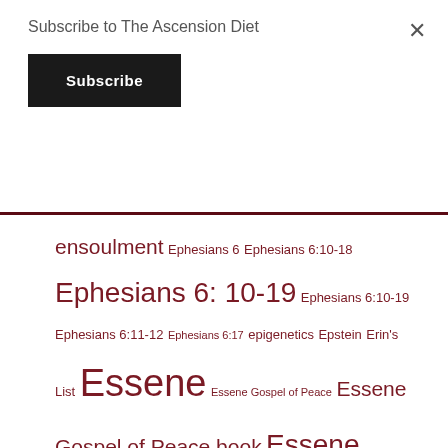Subscribe to The Ascension Diet
Subscribe
ensoulment Ephesians 6 Ephesians 6:10-18 Ephesians 6: 10-19 Ephesians 6:10-19 Ephesians 6:11-12 Ephesians 6:17 epigenetics Epstein Erin's List Essene Essene Gospel of Peace Essene Gospel of Peace book Essene Gospels Essene Gospels of Peace essential oil of pine eternal eternal life eternal life or eternal death eternity etheric energy harvesting EU Eugenics Europe EuropeanUnion event event horizon every knee shall bow and every tongue confess evidence Evil exhortation existence exopolitics extinction level extinction level event in the return of Jesus